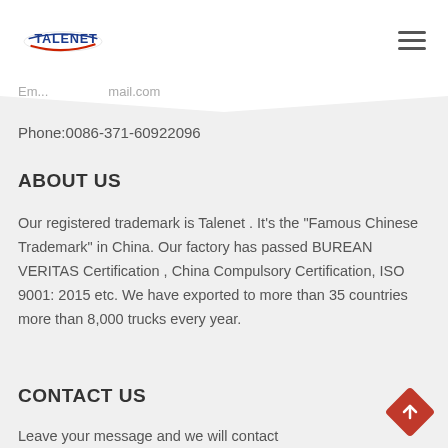TALENET
Phone:0086-371-60922096
ABOUT US
Our registered trademark is Talenet . It's the "Famous Chinese Trademark" in China. Our factory has passed BUREAN VERITAS Certification , China Compulsory Certification, ISO 9001: 2015 etc. We have exported to more than 35 countries more than 8,000 trucks every year.
CONTACT US
Leave your message and we will contact